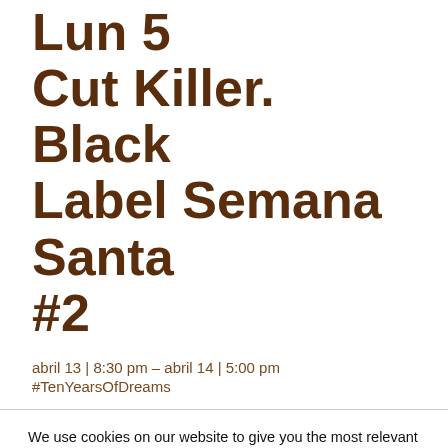Lun 5 Cut Killer. Black Label Semana Santa #2
abril 13 | 8:30 pm – abril 14 | 5:00 pm
#TenYearsOfDreams
We use cookies on our website to give you the most relevant experience by remembering your preferences and repeat visits. By clicking "Accept All", you consent to the use of ALL the cookies. However, you may visit "Cookie Settings" to provide a controlled consent.
Cookie Settings | Accept All